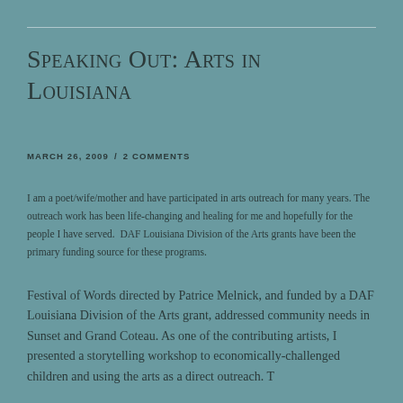Speaking Out: Arts in Louisiana
MARCH 26, 2009  /  2 COMMENTS
I am a poet/wife/mother and have participated in arts outreach for many years. The outreach work has been life-changing and healing for me and hopefully for the people I have served.  DAF Louisiana Division of the Arts grants have been the primary funding source for these programs.
Festival of Words directed by Patrice Melnick, and funded by a DAF Louisiana Division of the Arts grant, addressed community needs in Sunset and Grand Coteau. As one of the contributing artists, I presented a storytelling workshop to economically-challenged children and using the arts as a direct outreach. The